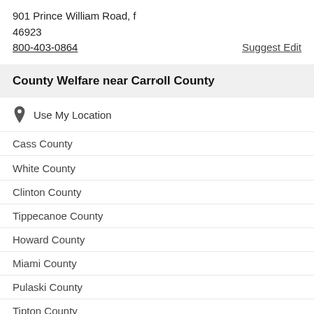901 Prince William Road, f
46923
800-403-0864
Suggest Edit
County Welfare near Carroll County
Use My Location
Cass County
White County
Clinton County
Tippecanoe County
Howard County
Miami County
Pulaski County
Tipton County